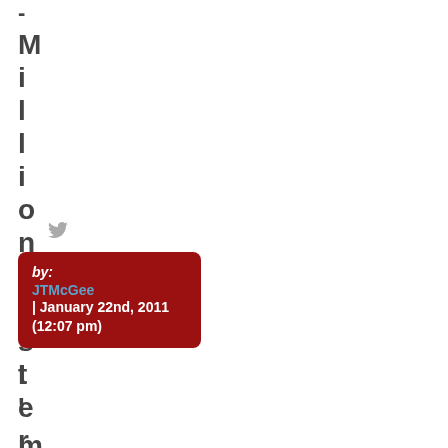- Millionvester
by: JTMcGee | January 22nd, 2011 (12:07 pm)
I'm pro